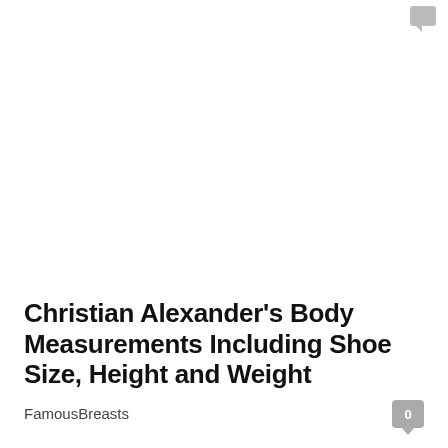Christian Alexander's Body Measurements Including Shoe Size, Height and Weight
FamousBreasts